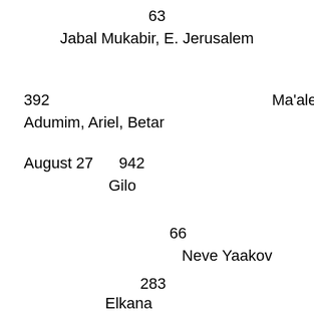63
Jabal Mukabir, E. Jerusalem
392                                                          Ma'ale Adumim, Ariel, Betar
August 27    942
Gilo
66
Neve Yaakov
283
Elkana
3,624        129
Uri Ariel, Israel's Housing and Construction Minister